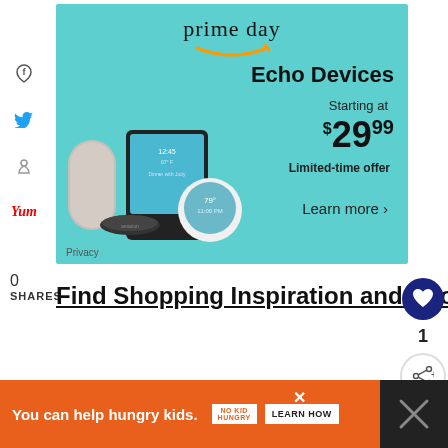[Figure (screenshot): Amazon Prime Day ad for Echo Devices. Teal background with multiple Amazon Echo device images. Text: 'prime day', 'Echo Devices', 'Starting at $29.99', 'Limited-time offer', 'Learn more'. Privacy link at bottom left.]
0
SHARES
Find Shopping Inspiration and Shop Anywhere
[Figure (infographic): Bottom orange banner ad: 'You can help hungry kids.' with No Kid Hungry logo and 'LEARN HOW' button. Dark bar on right side with X close button.]